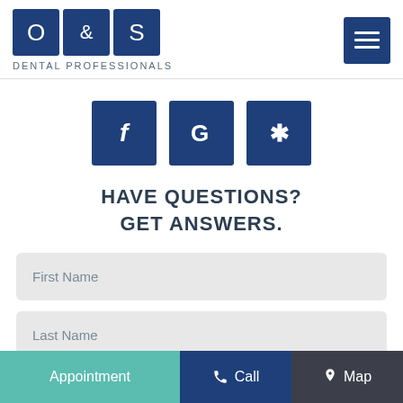[Figure (logo): O & S Dental Professionals logo with three blue squares and text below]
[Figure (infographic): Three social media icons: Facebook (f), Google (G), Yelp (asterisk/star) in blue squares]
HAVE QUESTIONS? GET ANSWERS.
First Name
Last Name
Phone Number
Appointment  Call  Map